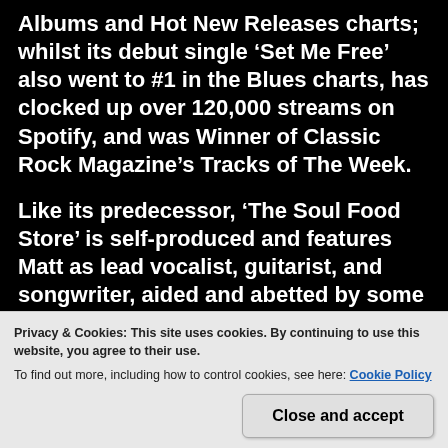Albums and Hot New Releases charts; whilst its debut single ‘Set Me Free’ also went to #1 in the Blues charts, has clocked up over 120,000 streams on Spotify, and was Winner of Classic Rock Magazine’s Tracks of The Week.
Like its predecessor, ‘The Soul Food Store’ is self-produced and features Matt as lead vocalist, guitarist, and songwriter, aided and abetted by some of the crème de la crème of the London blues scene. The line-up consists of Matt Pearce (vocals, guitars); Kelpie McKenzie (bass); Joe Lazarus
Privacy & Cookies: This site uses cookies. By continuing to use this website, you agree to their use.
To find out more, including how to control cookies, see here: Cookie Policy
Close and accept
Matt explained the original drive behind his musical